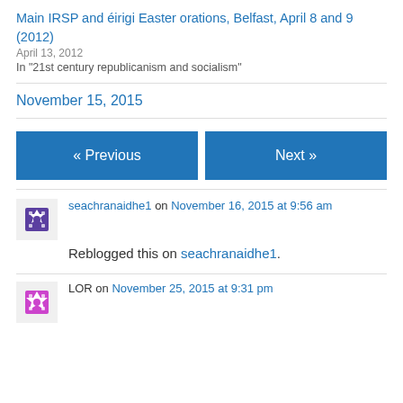Main IRSP and éirigi Easter orations, Belfast, April 8 and 9 (2012)
April 13, 2012
In "21st century republicanism and socialism"
November 15, 2015
« Previous
Next »
seachranaidhe1 on November 16, 2015 at 9:56 am
Reblogged this on seachranaidhe1.
LOR on November 25, 2015 at 9:31 pm